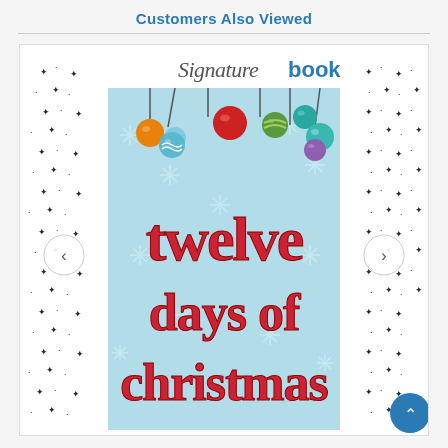Customers Also Viewed
[Figure (illustration): Book cover for 'Twelve Days of Christmas' showing a Signature Book branded cover. The outer border has star and dot decorations on white background. The book cover shows a light blue background with white snowflakes, colorful Christmas ornament balls hanging from strings at the top, and large stylized red hand-lettered text reading 'twelve days of christmas'. Navigation arrows appear on left and right sides, and a blue scroll-up button appears at bottom right.]